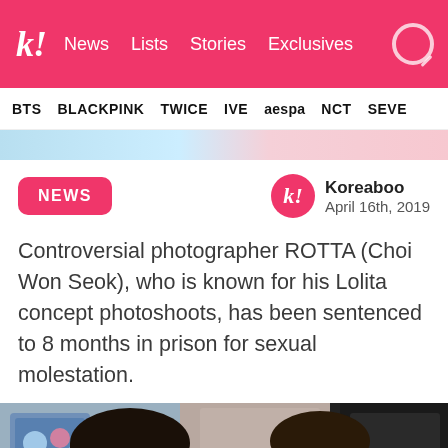k! News Lists Stories Exclusives
BTS BLACKPINK TWICE IVE aespa NCT SEVE
[Figure (photo): Partial banner image at top of page showing people]
NEWS
Koreaboo
April 16th, 2019
Controversial photographer ROTTA (Choi Won Seok), who is known for his Lolita concept photoshoots, has been sentenced to 8 months in prison for sexual molestation.
[Figure (photo): Photo of two people with anime and movie posters in the background, number 7.29 visible]